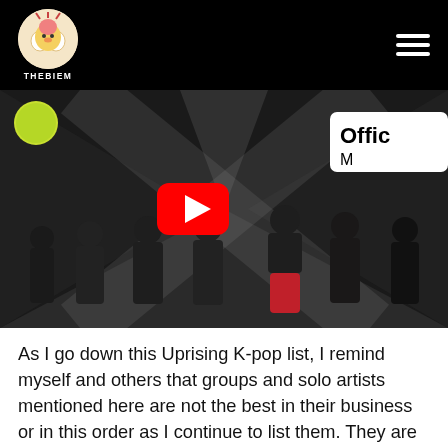THEBIEM
[Figure (screenshot): YouTube video thumbnail showing a K-pop group (multiple young men in black outfits, one in red) posed in front of a dramatic dark background with an X shape. A red YouTube play button is centered on the image. An 'Offic' badge is visible in the top right corner. A circular logo appears in the top left of the video.]
As I go down this Uprising K-pop list, I remind myself and others that groups and solo artists mentioned here are not the best in their business or in this order as I continue to list them. They are the ones that caught my attention and after a few songs, actually made me love